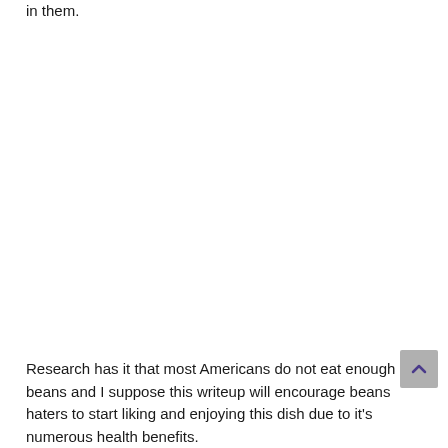in them.
Research has it that most Americans do not eat enough beans and I suppose this writeup will encourage beans haters to start liking and enjoying this dish due to it's numerous health benefits.